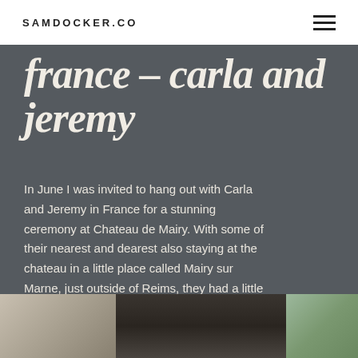SAMDOCKER.CO
france – carla and jeremy
In June I was invited to hang out with Carla and Jeremy in France for a stunning ceremony at Chateau de Mairy. With some of their nearest and dearest also staying at the chateau in a little place called Mairy sur Marne, just outside of Reims, they had a little celebration. It just so happened to be [...]
[Figure (photo): Three-panel photo strip at bottom: left panel shows a woman in white dress, center panel shows a figure in dark suit, right panel shows greenery/window.]